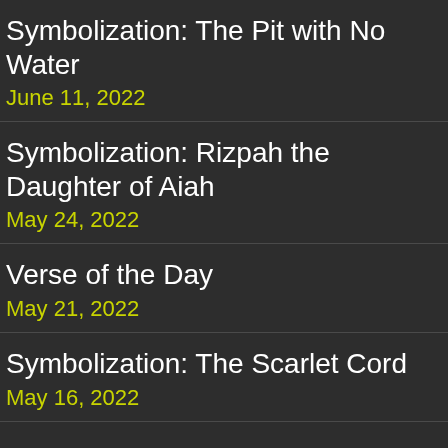Symbolization: The Pit with No Water
June 11, 2022
Symbolization: Rizpah the Daughter of Aiah
May 24, 2022
Verse of the Day
May 21, 2022
Symbolization: The Scarlet Cord
May 16, 2022